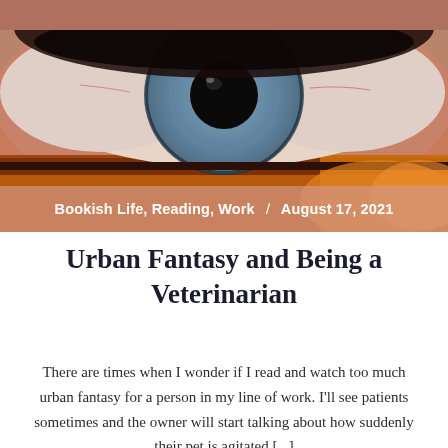[Figure (photo): Extreme close-up macro photograph of a human eye with blue-grey iris and red/orange lashes and surrounding skin]
Bookish Life, Reading, Work  /  August 17, 2021
Urban Fantasy and Being a Veterinarian
There are times when I wonder if I read and watch too much urban fantasy for a person in my line of work. I'll see patients sometimes and the owner will start talking about how suddenly their pet is agitated [...]